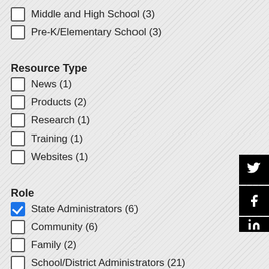Middle and High School (3)
Pre-K/Elementary School (3)
Resource Type
News (1)
Products (2)
Research (1)
Training (1)
Websites (1)
Role
State Administrators (6)
Community (6)
Family (2)
School/District Administrators (21)
School Support Staff (8)